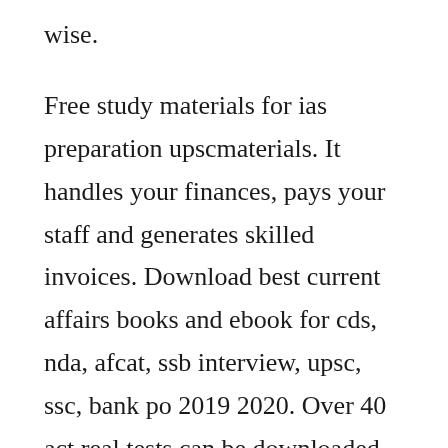wise.
Free study materials for ias preparation upscmaterials. It handles your finances, pays your staff and generates skilled invoices. Download best current affairs books and ebook for cds, nda, afcat, ssb interview, upsc, ssc, bank po 2019 2020. Over 40 act real tests can be downloaded free of charge. The simple user interface and the clarity of analysis they provide is best across all platforms that you may come across and that is exactly what is needed. Free practice tests and other test